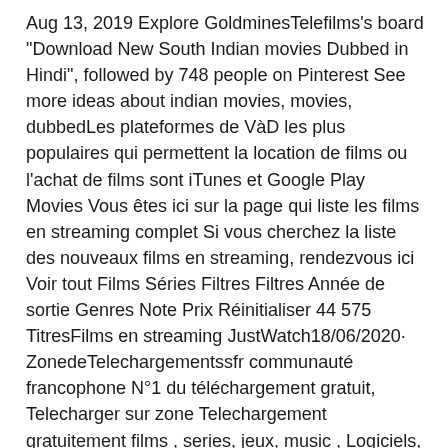Aug 13, 2019 Explore GoldminesTelefilms's board "Download New South Indian movies Dubbed in Hindi", followed by 748 people on Pinterest See more ideas about indian movies, movies, dubbedLes plateformes de VàD les plus populaires qui permettent la location de films ou l'achat de films sont iTunes et Google Play Movies Vous êtes ici sur la page qui liste les films en streaming complet Si vous cherchez la liste des nouveaux films en streaming, rendezvous ici Voir tout Films Séries Filtres Filtres Année de sortie Genres Note Prix Réinitialiser 44 575 TitresFilms en streaming JustWatch18/06/2020· ZonedeTelechargementssfr communauté francophone N°1 du téléchargement gratuit, Telecharger sur zone Telechargement gratuitement films , series, jeux, music , Logiciels, mangas, ebooks gratuitement sur uptobox, 1fichier, uploaded et en Streaming sur mystreamZone Telechargement 1er site de téléchargement direct
sound wave crushing machine prix du sable de silice afrique du sud en or gros de broyage vanne de production concasseurs a percussion verticaux a vendre usine de